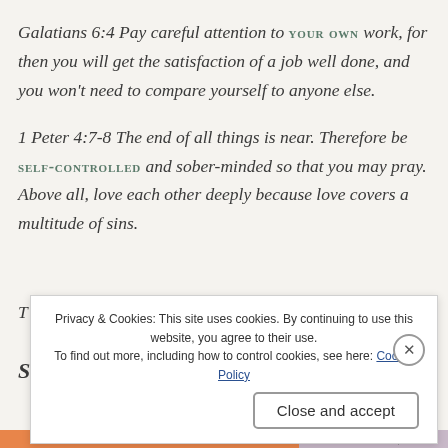Galatians 6:4 Pay careful attention to YOUR OWN work, for then you will get the satisfaction of a job well done, and you won't need to compare yourself to anyone else.
1 Peter 4:7-8 The end of all things is near. Therefore be SELF-CONTROLLED and sober-minded so that you may pray. Above all, love each other deeply because love covers a multitude of sins.
T...
Privacy & Cookies: This site uses cookies. By continuing to use this website, you agree to their use. To find out more, including how to control cookies, see here: Cookie Policy
Close and accept